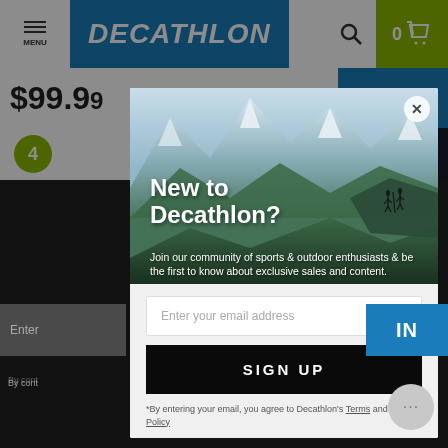[Figure (screenshot): Decathlon website page with navigation bar showing MENU, Decathlon logo, search icon, and cart (0 items). Price shown as $99.9x with CART button. Rating badge showing 4. Dark background area below. A modal popup overlay is displayed on top.]
[Figure (photo): Mountain landscape with snow-capped peaks, green valley, and two hikers silhouetted on a ridge. Used as the header image of the Decathlon email signup modal.]
New to Decathlon?
Join our community of sports & outdoor enthusiasts & be the first to know about exclusive sales and content.
Enter your email address
SIGN UP
*By entering your email, you agree to Decathlon's Terms and Privacy Policy